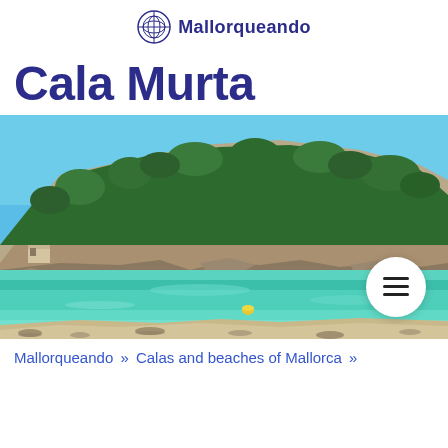Mallorqueando
Cala Murta
[Figure (photo): Coastal cove of Cala Murta, Mallorca — turquoise water, rocky shoreline, pine-covered hillside, clear blue sky]
Mallorqueando » Calas and beaches of Mallorca »